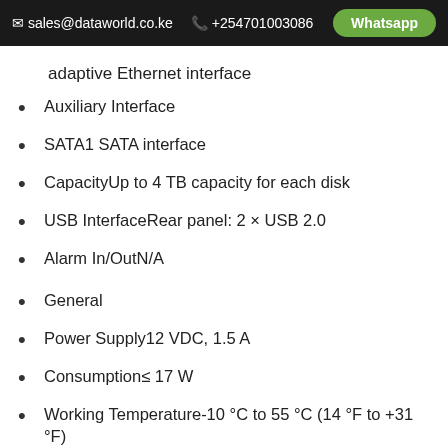sales@dataworld.co.ke  +254701003086  Whatsapp
adaptive Ethernet interface
Auxiliary Interface
SATA1 SATA interface
CapacityUp to 4 TB capacity for each disk
USB InterfaceRear panel: 2 × USB 2.0
Alarm In/OutN/A
General
Power Supply12 VDC, 1.5 A
Consumption≤ 17 W
Working Temperature-10 °C to 55 °C (14 °F to +31 °F)
Working Humidity10% to 90%